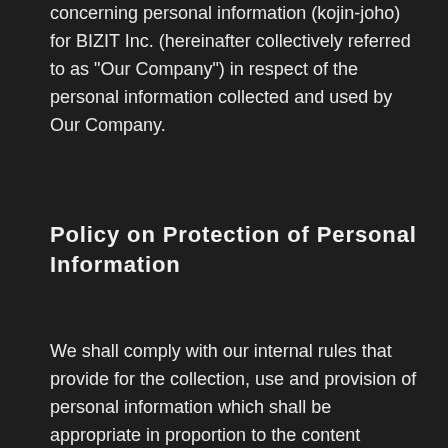concerning personal information (kojin-joho) for BIZIT Inc. (hereinafter collectively referred to as "Our Company") in respect of the personal information collected and used by Our Company.
Policy on Protection of Personal Information
We shall comply with our internal rules that provide for the collection, use and provision of personal information which shall be appropriate in proportion to the content and purpose for which it is used.